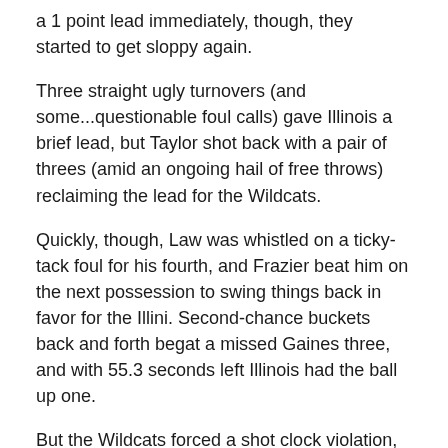a 1 point lead immediately, though, they started to get sloppy again.
Three straight ugly turnovers (and some...questionable foul calls) gave Illinois a brief lead, but Taylor shot back with a pair of threes (amid an ongoing hail of free throws) reclaiming the lead for the Wildcats.
Quickly, though, Law was whistled on a ticky-tack foul for his fourth, and Frazier beat him on the next possession to swing things back in favor for the Illini. Second-chance buckets back and forth begat a missed Gaines three, and with 55.3 seconds left Illinois had the ball up one.
But the Wildcats forced a shot clock violation, and had the chance to make up for their recent close game woes.